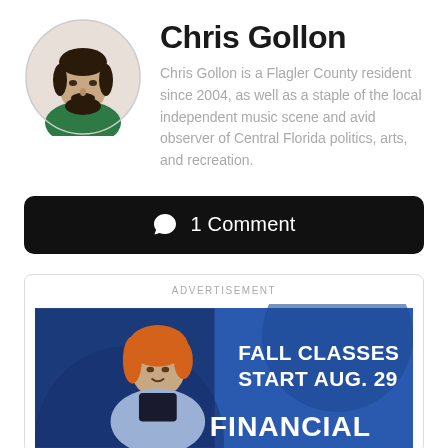Chris Gollon
[Figure (photo): Circular portrait photo of Chris Gollon, a man with dark curly hair and a beard wearing a green polo shirt]
Chris Gollon is a Flagler County resident since 2004, as well as a staple of the local independent music scene and avid observer of Central Florida politics, arts, and recreation.
1 Comment
ADVERTISEMENT
[Figure (photo): Advertisement image showing a young woman with orange hair smiling, with text overlay: FALL CLASSES START AUG. 29 and FINANCIAL]